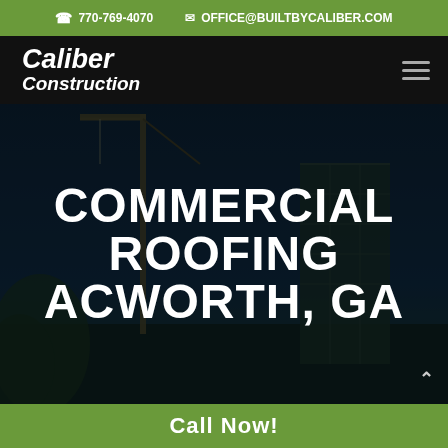770-769-4070  OFFICE@BUILTBYCALIBER.COM
Caliber Construction
[Figure (photo): Background photo of construction site with cranes and scaffolding against a dark blue sky, overlaid with a dark semi-transparent layer. Large white bold text reads: COMMERCIAL ROOFING ACWORTH, GA]
Call Now!